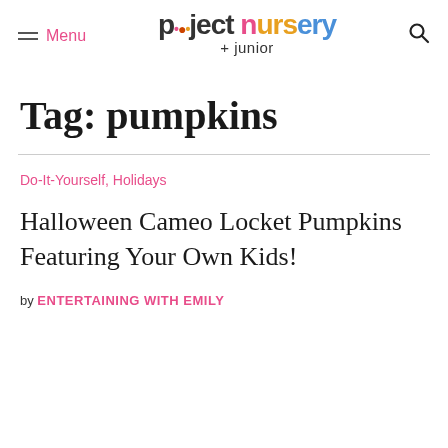Menu | [logo: project nursery + junior] | [search icon]
Tag: pumpkins
Do-It-Yourself, Holidays
Halloween Cameo Locket Pumpkins Featuring Your Own Kids!
by ENTERTAINING WITH EMILY